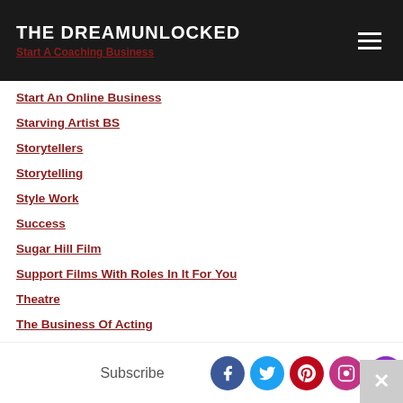THE DREAMUNLOCKED | Start A Coaching Business
Start An Online Business
Starving Artist BS
Storytellers
Storytelling
Style Work
Success
Sugar Hill Film
Support Films With Roles In It For You
Theatre
The Business Of Acting
Therapy
Theresa Randle
The Walking Dead
TheWritersRoom
Subscribe